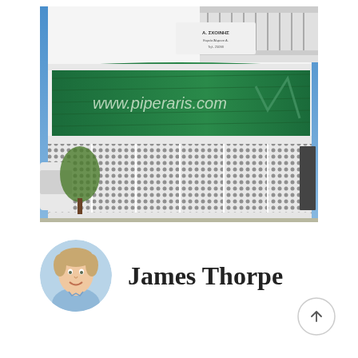[Figure (photo): Exterior photo of a curved commercial building with a green glass facade displaying 'www.piperaris.com'. The ground floor has white metal mesh/chain-link security shutters. Upper floors are white with balcony railings. A sign reading 'A. ΣΧΟΙΝΗΣ' is visible on the upper level.]
[Figure (photo): Headshot portrait of James Thorpe, a young man with light hair, smiling, wearing a light blue shirt.]
James Thorpe